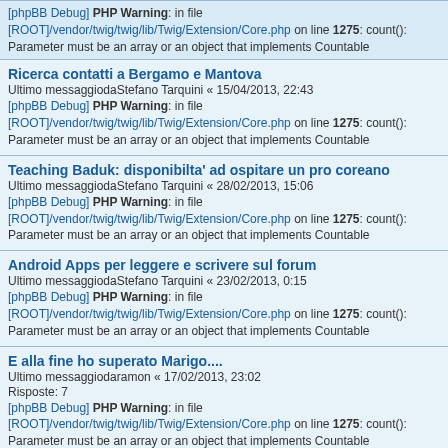[phpBB Debug] PHP Warning: in file [ROOT]/vendor/twig/twig/lib/Twig/Extension/Core.php on line 1275: count(): Parameter must be an array or an object that implements Countable
Ricerca contatti a Bergamo e Mantova
Ultimo messaggiodaStefano Tarquini « 15/04/2013, 22:43
[phpBB Debug] PHP Warning: in file [ROOT]/vendor/twig/twig/lib/Twig/Extension/Core.php on line 1275: count(): Parameter must be an array or an object that implements Countable
Teaching Baduk: disponibilta' ad ospitare un pro coreano
Ultimo messaggiodaStefano Tarquini « 28/02/2013, 15:06
[phpBB Debug] PHP Warning: in file [ROOT]/vendor/twig/twig/lib/Twig/Extension/Core.php on line 1275: count(): Parameter must be an array or an object that implements Countable
Android Apps per leggere e scrivere sul forum
Ultimo messaggiodaStefano Tarquini « 23/02/2013, 0:15
[phpBB Debug] PHP Warning: in file [ROOT]/vendor/twig/twig/lib/Twig/Extension/Core.php on line 1275: count(): Parameter must be an array or an object that implements Countable
E alla fine ho superato Marigo....
Ultimo messaggiodaramon « 17/02/2013, 23:02
Risposte: 7
[phpBB Debug] PHP Warning: in file [ROOT]/vendor/twig/twig/lib/Twig/Extension/Core.php on line 1275: count(): Parameter must be an array or an object that implements Countable
Quelli brutti sull'angolino. Una storia vera.
Ultimo messaggiodaStefano Tarquini « 16/02/2013, 11:19
Risposte: 7
[phpBB Debug] PHP Warning: in file [ROOT]/vendor/twig/twig/lib/Twig/Extension/Core.php on line 1275: count(): Parameter must be an array or an object that implements Countable
Il Baduk Facile e Divertente
Ultimo messaggiodariktik « 11/02/2013, 18:04
Risposte: 44